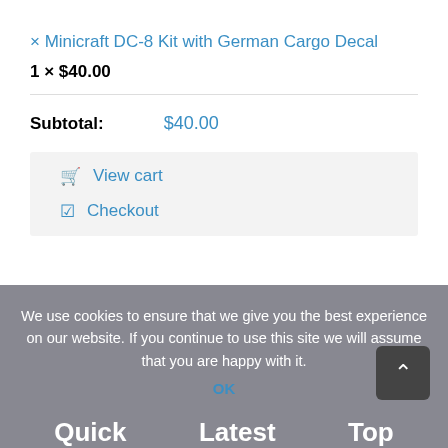× Minicraft DC-8 Kit with German Cargo Decal
1 × $40.00
Subtotal: $40.00
View cart
Checkout
We use cookies to ensure that we give you the best experience on our website. If you continue to use this site we will assume that you are happy with it.
OK
Quick
Latest
Top